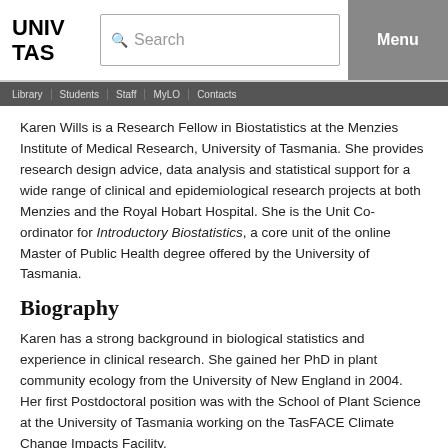UNIV TAS | Search | Menu
Library | Students | Staff | MyLO | Contacts
Karen Wills is a Research Fellow in Biostatistics at the Menzies Institute of Medical Research, University of Tasmania. She provides research design advice, data analysis and statistical support for a wide range of clinical and epidemiological research projects at both Menzies and the Royal Hobart Hospital. She is the Unit Co-ordinator for Introductory Biostatistics, a core unit of the online Master of Public Health degree offered by the University of Tasmania.
Biography
Karen has a strong background in biological statistics and experience in clinical research. She gained her PhD in plant community ecology from the University of New England in 2004. Her first Postdoctoral position was with the School of Plant Science at the University of Tasmania working on the TasFACE Climate Change Impacts Facility.
In 2008 she moved to Menzies to focus her career in biostatistics, and completed a Master of Biostatistics in 2105. She provides